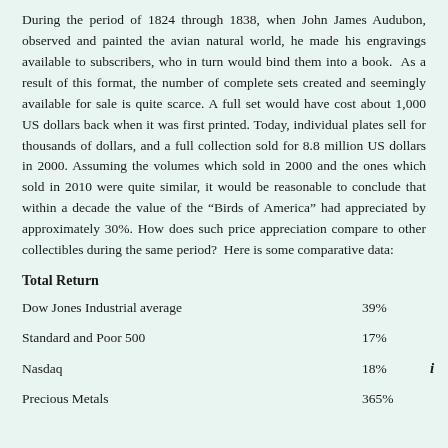During the period of 1824 through 1838, when John James Audubon, observed and painted the avian natural world, he made his engravings available to subscribers, who in turn would bind them into a book.  As a result of this format, the number of complete sets created and seemingly available for sale is quite scarce. A full set would have cost about 1,000 US dollars back when it was first printed. Today, individual plates sell for thousands of dollars, and a full collection sold for 8.8 million US dollars in 2000. Assuming the volumes which sold in 2000 and the ones which sold in 2010 were quite similar, it would be reasonable to conclude that within a decade the value of the “Birds of America” had appreciated by approximately 30%. How does such price appreciation compare to other collectibles during the same period?  Here is some comparative data:
Total Return
|  |  |
| --- | --- |
| Dow Jones Industrial average | 39% |
| Standard and Poor 500 | 17% |
| Nasdaq | 18% |
| Precious Metals | 365% |